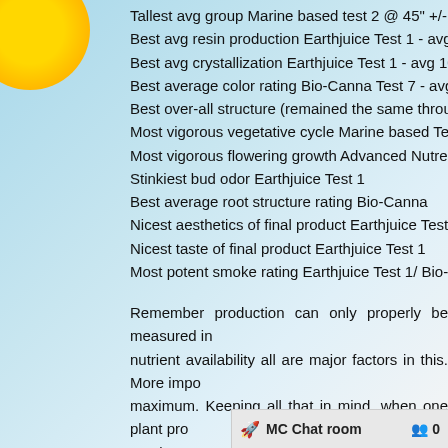Tallest avg group Marine based test 2 @ 45" +/-
Best avg resin production Earthjuice Test 1 - avg 10 rating
Best avg crystallization Earthjuice Test 1 - avg 10 rating
Best average color rating Bio-Canna Test 7 - avg 9.5 rating
Best over-all structure (remained the same through-out) Bi...
Most vigorous vegetative cycle Marine based Test 2
Most vigorous flowering growth Advanced Nutreints Test 5
Stinkiest bud odor Earthjuice Test 1
Best average root structure rating Bio-Canna
Nicest aesthetics of final product Earthjuice Test 1
Nicest taste of final product Earthjuice Test 1
Most potent smoke rating Earthjuice Test 1/ Bio-Canna Tes...
Remember production can only properly be measured in... nutrient availability all are major factors in this. More impo... maximum. Keeping all that in mind, when one plant pro... results were similar with the same strain as seen above w... reach maximum production levels when properly applied. ... defined. Things like overall plan... similar space restrictions. The...